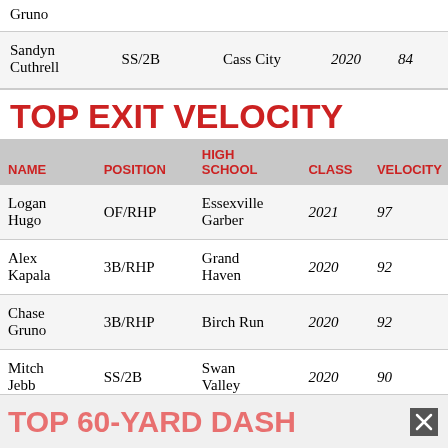| NAME | POSITION | HIGH SCHOOL | CLASS | VELOCITY |
| --- | --- | --- | --- | --- |
| Gruno | SS/2B | .... | 2020 | 84 |
| Sandyn Cuthrell | SS/2B | Cass City | 2020 | 84 |
TOP EXIT VELOCITY
| NAME | POSITION | HIGH SCHOOL | CLASS | VELOCITY |
| --- | --- | --- | --- | --- |
| Logan Hugo | OF/RHP | Essexville Garber | 2021 | 97 |
| Alex Kapala | 3B/RHP | Grand Haven | 2020 | 92 |
| Chase Gruno | 3B/RHP | Birch Run | 2020 | 92 |
| Mitch Jebb | SS/2B | Swan Valley | 2020 | 90 |
TOP 60-YARD DASH